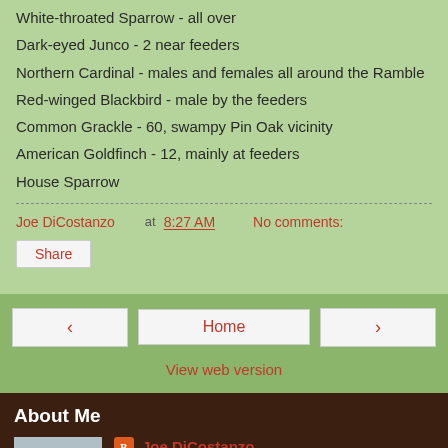White-throated Sparrow - all over
Dark-eyed Junco - 2 near feeders
Northern Cardinal - males and females all around the Ramble
Red-winged Blackbird - male by the feeders
Common Grackle - 60, swampy Pin Oak vicinity
American Goldfinch - 12, mainly at feeders
House Sparrow
Joe DiCostanzo at 8:27 AM   No comments:
Share
Home
View web version
About Me
Joe DiCostanzo
I study Common and Roseate terns with the Great Gull Island Project at the American Museum of Natural History. I have been birding for over 40 years and lead...